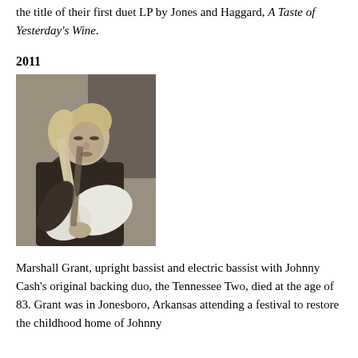the title of their first duet LP by Jones and Haggard, A Taste of Yesterday's Wine.
2011
[Figure (photo): Black and white photograph of Marshall Grant playing electric bass guitar, wearing a dark shirt, with medium-length light hair.]
Marshall Grant, upright bassist and electric bassist with Johnny Cash's original backing duo, the Tennessee Two, died at the age of 83. Grant was in Jonesboro, Arkansas attending a festival to restore the childhood home of Johnny Cash when he became ill. The cause has not yet been announced. The